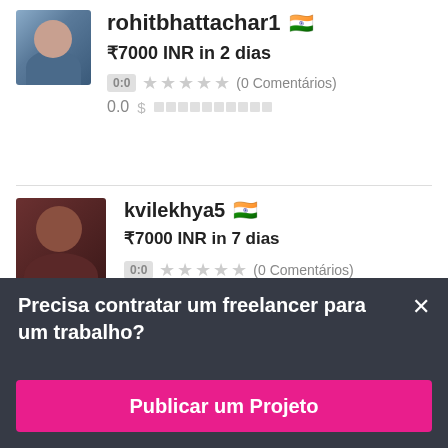rohitbhattachar1 🇮🇳
₹7000 INR in 2 dias
0:0 ★★★★★ (0 Comentários)
0.0 $ ░░░░░░░░░░
[Figure (photo): Avatar photo of rohitbhattachar1]
[Figure (photo): Avatar photo of kvilekhya5]
kvilekhya5 🇮🇳
₹7000 INR in 7 dias
0:0 ★★★★★ (0 Comentários)
Precisa contratar um freelancer para um trabalho?
Publicar um Projeto